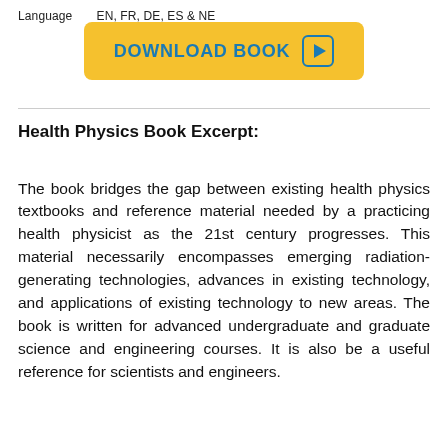Language      EN, FR, DE, ES & NE
DOWNLOAD BOOK
Health Physics Book Excerpt:
The book bridges the gap between existing health physics textbooks and reference material needed by a practicing health physicist as the 21st century progresses. This material necessarily encompasses emerging radiation-generating technologies, advances in existing technology, and applications of existing technology to new areas. The book is written for advanced undergraduate and graduate science and engineering courses. It is also be a useful reference for scientists and engineers.